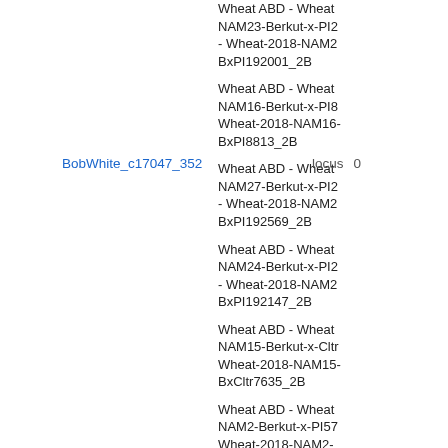BxPI192001_2B
BobWhite_c17047_352   locus  0
Wheat ABD - Wheat NAM16-Berkut-x-PI8 Wheat-2018-NAM16 BxPI8813_2B
Wheat ABD - Wheat NAM27-Berkut-x-PI2 - Wheat-2018-NAM2 BxPI192569_2B
Wheat ABD - Wheat NAM24-Berkut-x-PI2 - Wheat-2018-NAM2 BxPI192147_2B
Wheat ABD - Wheat NAM15-Berkut-x-Cltr Wheat-2018-NAM15 BxCltr7635_2B
Wheat ABD - Wheat NAM2-Berkut-x-PI57 Wheat-2018-NAM2- BxPI572692_2B
Wheat ABD - Wheat